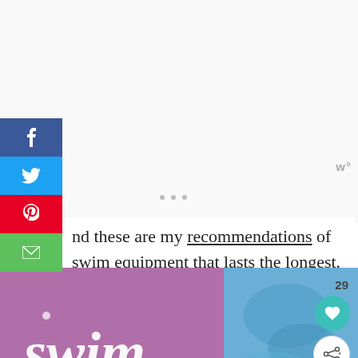[Figure (screenshot): Top white/light gray area with three small loading dots centered]
nd these are my recommendations of swim equipment that lasts the longest.
[Figure (photo): Photo showing swim-themed graphics: white 'swim' script text on purple background, and blue ruffled swimwear on the right side]
SHE CAN STEM